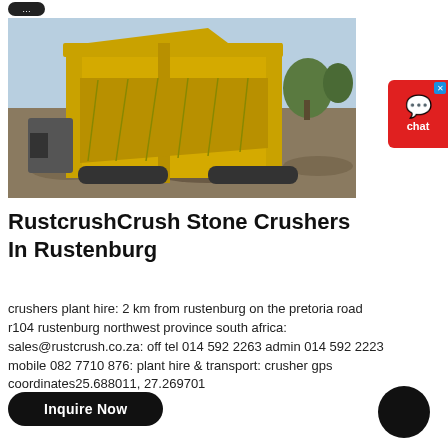[Figure (photo): Large yellow industrial stone crusher machine on a rocky outdoor site in Rustenburg, South Africa.]
RustcrushCrush Stone Crushers In Rustenburg
crushers plant hire: 2 km from rustenburg on the pretoria road r104 rustenburg northwest province south africa: sales@rustcrush.co.za: off tel 014 592 2263 admin 014 592 2223 mobile 082 7710 876: plant hire & transport: crusher gps coordinates25.688011, 27.269701